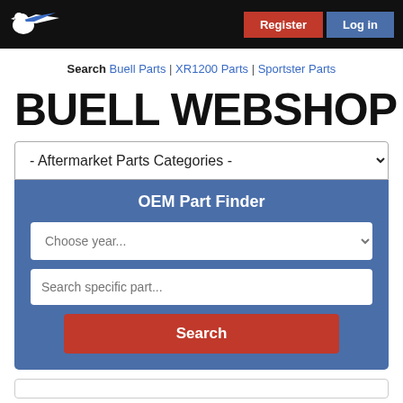[Figure (logo): Buell/Sportster webshop logo - white bird/wing emblem on black navbar background]
Register | Log in
Search Buell Parts | XR1200 Parts | Sportster Parts
BUELL WEBSHOP
- Aftermarket Parts Categories -
OEM Part Finder
Choose year...
Search specific part...
Search